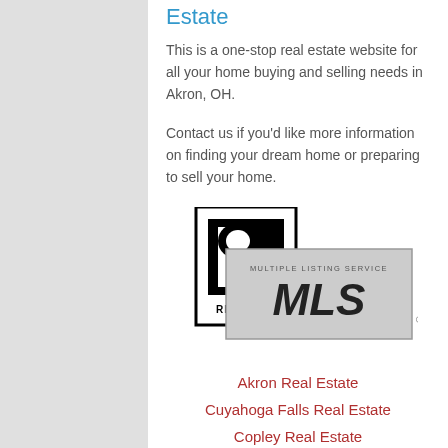Estate
This is a one-stop real estate website for all your home buying and selling needs in Akron, OH.
Contact us if you'd like more information on finding your dream home or preparing to sell your home.
[Figure (logo): REALTOR and MLS (Multiple Listing Service) combined logo badge]
Akron Real Estate
Cuyahoga Falls Real Estate
Copley Real Estate